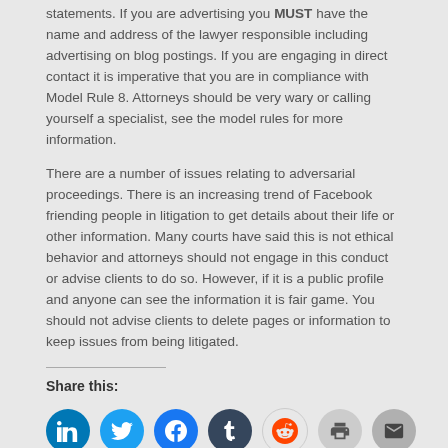statements. If you are advertising you MUST have the name and address of the lawyer responsible including advertising on blog postings. If you are engaging in direct contact it is imperative that you are in compliance with Model Rule 8. Attorneys should be very wary or calling yourself a specialist, see the model rules for more information.
There are a number of issues relating to adversarial proceedings. There is an increasing trend of Facebook friending people in litigation to get details about their life or other information. Many courts have said this is not ethical behavior and attorneys should not engage in this conduct or advise clients to do so. However, if it is a public profile and anyone can see the information it is fair game. You should not advise clients to delete pages or information to keep issues from being litigated.
Share this: